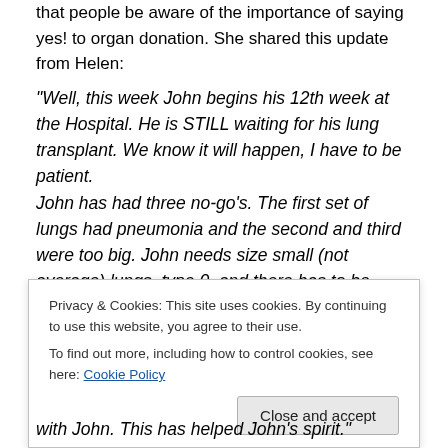that people be aware of the importance of saying yes! to organ donation. She shared this update from Helen:
“Well, this week John begins his 12th week at the Hospital. He is STILL waiting for his lung transplant. We know it will happen, I have to be patient.
John has had three no-go’s. The first set of lungs had pneumonia and the second and third were too big. John needs size small (not average) lungs, type 0, and there has to be matches.
I was with John for eight weeks, and with the approval of the floor nurse practitioners, I went back home and back to
Privacy & Cookies: This site uses cookies. By continuing to use this website, you agree to their use.
To find out more, including how to control cookies, see here: Cookie Policy
with John. This has helped John’s spirit.”